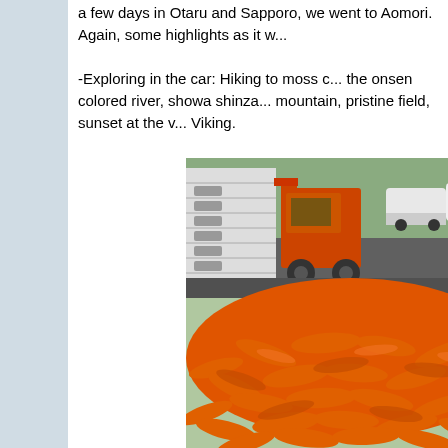a few days in Otaru and Sapporo, we went to Aomori. Again, some highlights as it w...
-Exploring in the car: Hiking to moss c... the onsen colored river, showa shinza... mountain, pristine field, sunset at the v... Viking.
[Figure (photo): A large pile of carrots in the foreground with stacked white crates and a forklift in the background in a parking lot, with workers in orange vests.]